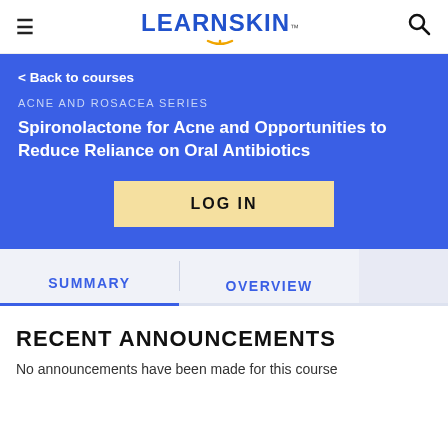LEARNSKIN
< Back to courses
ACNE AND ROSACEA SERIES
Spironolactone for Acne and Opportunities to Reduce Reliance on Oral Antibiotics
LOG IN
SUMMARY
OVERVIEW
RECENT ANNOUNCEMENTS
No announcements have been made for this course